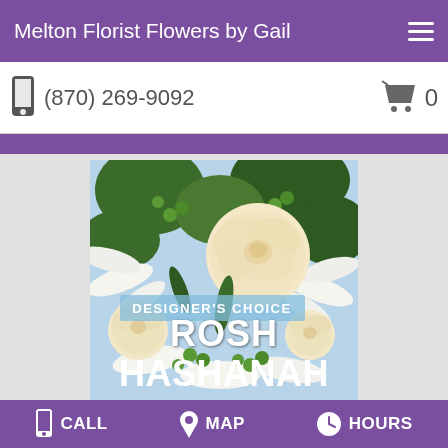Melton Florist Flowers by Gail
(870) 269-9092
[Figure (photo): Close-up photo of white lilies, cream roses, and green berries flower arrangement with overlay text reading DESIGNER'S CHOICE ROSH HASHANAH]
CALL   MAP   HOURS